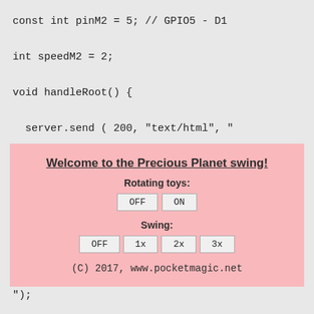const int pinM2 = 5; // GPIO5 - D1
int speedM2 = 2;
void handleRoot() {
server.send ( 200, "text/html", "
[Figure (screenshot): Pink UI preview box showing web interface with title 'Welcome to the Precious Planet swing!', Rotating toys OFF/ON buttons, Swing OFF/1x/2x/3x buttons, and copyright footer]
");